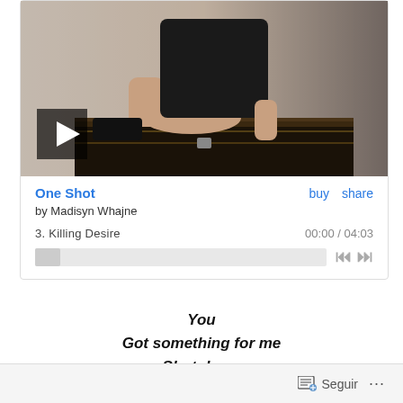[Figure (photo): Woman in black dress sitting on a dark wooden chest/trunk against a light background, with a play button overlay in bottom left corner]
One Shot
buy   share
by Madisyn Whajne
3.  Killing Desire
00:00 / 04:03
You
Got something for me
Shot down
Living in a dream
Seguir